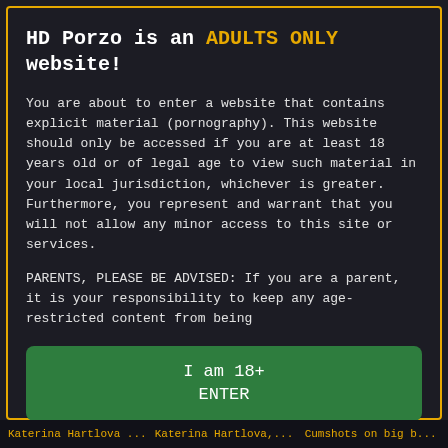HD Porzo is an ADULTS ONLY website!
You are about to enter a website that contains explicit material (pornography). This website should only be accessed if you are at least 18 years old or of legal age to view such material in your local jurisdiction, whichever is greater. Furthermore, you represent and warrant that you will not allow any minor access to this site or services.
PARENTS, PLEASE BE ADVISED: If you are a parent, it is your responsibility to keep any age-restricted content from being
I am 18+
ENTER
When accessing this site you agree to our terms of use.
Katerina Hartlova ...   Katerina Hartlova,...   Cumshots on big b...